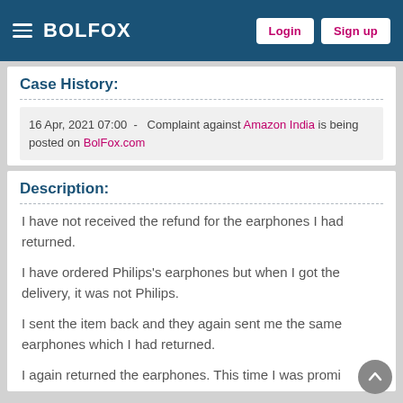BOLFOX | Login | Sign up
Case History:
16 Apr, 2021 07:00 - Complaint against Amazon India is being posted on BolFox.com
Description:
I have not received the refund for the earphones I had returned.
I have ordered Philips's earphones but when I got the delivery, it was not Philips.
I sent the item back and they again sent me the same earphones which I had returned.
I again returned the earphones. This time I was promi